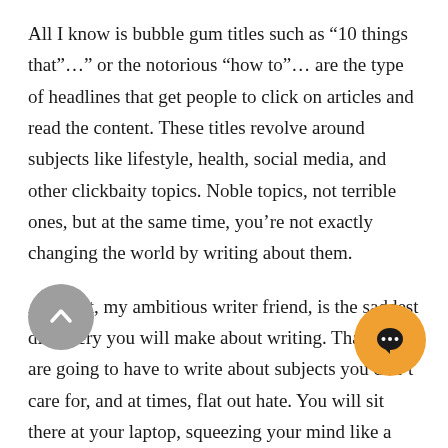All I know is bubble gum titles such as “10 things that”…” or the notorious “how to”… are the type of headlines that get people to click on articles and read the content. These titles revolve around subjects like lifestyle, health, social media, and other clickbaity topics. Noble topics, not terrible ones, but at the same time, you’re not exactly changing the world by writing about them.
And that, my ambitious writer friend, is the saddest discovery you will make about writing. That you are going to have to write about subjects you don’t care for, and at times, flat out hate. You will sit there at your laptop, squeezing your mind like a wet towel for every last drop of inspiration you can muster, just so you can meet a daunting word count, and submit that God awful piece about the “6 Best Ways to Bathe Your Cat ”…. That’s another thing I might… Concepts such as word count, headlines, SEOs, consume